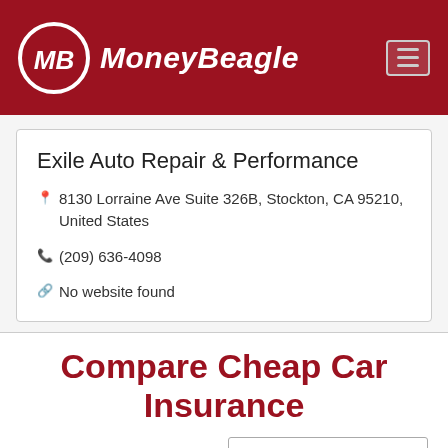[Figure (logo): MoneyBeagle logo with MB circle emblem on dark red header background, with hamburger menu icon on right]
Exile Auto Repair & Performance
📍 8130 Lorraine Ave Suite 326B, Stockton, CA 95210, United States
📞 (209) 636-4098
🔗 No website found
Compare Cheap Car Insurance Quotes Now
Enter Zip
Get Rates >